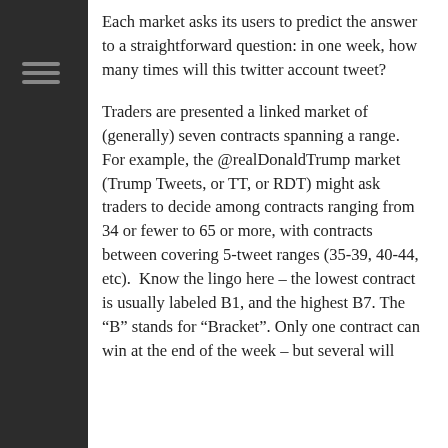Each market asks its users to predict the answer to a straightforward question: in one week, how many times will this twitter account tweet?
Traders are presented a linked market of (generally) seven contracts spanning a range. For example, the @realDonaldTrump market (Trump Tweets, or TT, or RDT) might ask traders to decide among contracts ranging from 34 or fewer to 65 or more, with contracts between covering 5-tweet ranges (35-39, 40-44, etc). Know the lingo here – the lowest contract is usually labeled B1, and the highest B7. The “B” stands for “Bracket”. Only one contract can win at the end of the week – but several will